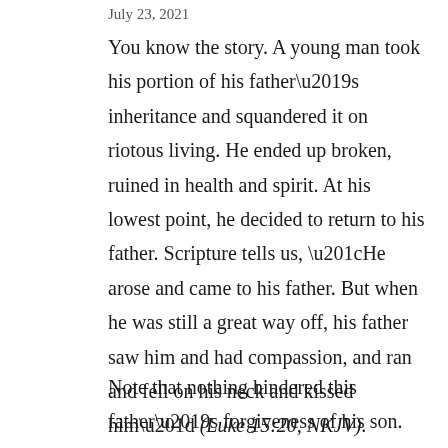July 23, 2021
You know the story. A young man took his portion of his father’s inheritance and squandered it on riotous living. He ended up broken, ruined in health and spirit. At his lowest point, he decided to return to his father. Scripture tells us, “He arose and came to his father. But when he was still a great way off, his father saw him and had compassion, and ran and fell on his neck and kissed him” (Luke 15:20, NKJV).
Note that nothing hindered this father’s forgiveness of his son. There was nothing this